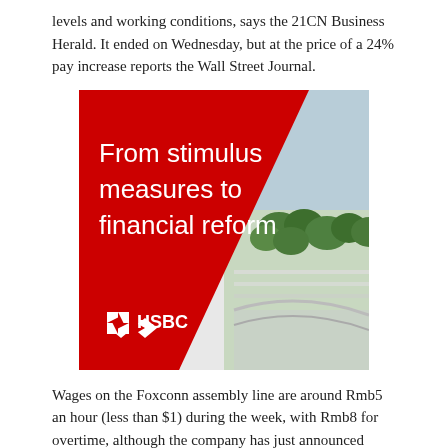levels and working conditions, says the 21CN Business Herald. It ended on Wednesday, but at the price of a 24% pay increase reports the Wall Street Journal.
[Figure (illustration): HSBC advertisement banner with red diagonal design and text 'From stimulus measures to financial reform', with HSBC logo at the bottom left and a photo of green trees and modern architecture on the right side.]
Wages on the Foxconn assembly line are around Rmb5 an hour (less than $1) during the week, with Rmb8 for overtime, although the company has just announced plans for a 20% wage increase